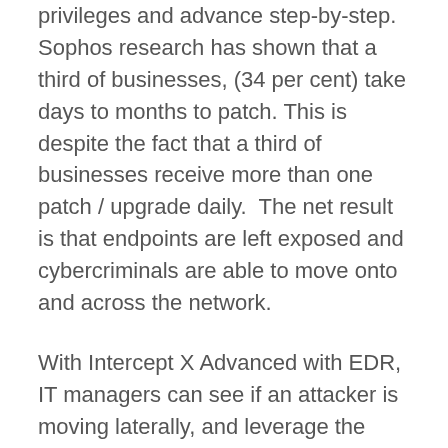privileges and advance step-by-step. Sophos research has shown that a third of businesses, (34 per cent) take days to months to patch. This is despite the fact that a third of businesses receive more than one patch / upgrade daily.  The net result is that endpoints are left exposed and cybercriminals are able to move onto and across the network.
With Intercept X Advanced with EDR, IT managers can see if an attacker is moving laterally, and leverage the anti-ransomware and anti-exploit capabilities in Intercept X, the industry's most sophisticated endpoint prevention solution. Sophos Intercept X with EDR is integrated with Sophos Central, a cloud-based unified console for managing Sophos' portfolio of products, allowing end-users and Managed Security Partners to make decisions based on EDR intelligence from a single